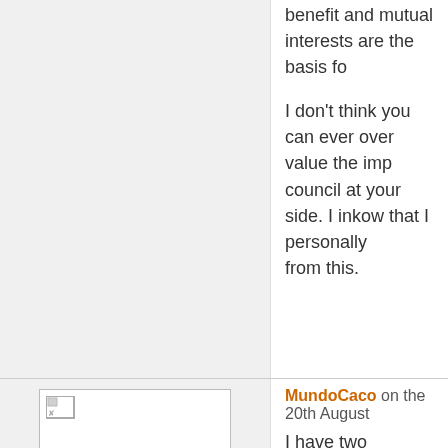benefit and mutual interests are the basis fo...
I don't think you can ever over value the imp... council at your side. I inkow that I personally... from this.
[Figure (photo): Avatar/profile image placeholder with small broken image icon]
MundoCaco on the 20th August
I have two mentors.
I learn of them ...

We work together and learn Each Other.

It is a marvelous country and constructive e...

thanks for make think about it with this post...